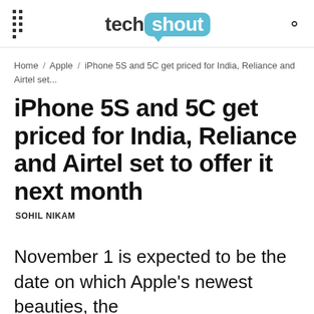techshout
Home / Apple / iPhone 5S and 5C get priced for India, Reliance and Airtel set...
iPhone 5S and 5C get priced for India, Reliance and Airtel set to offer it next month
SOHIL NIKAM
November 1 is expected to be the date on which Apple's newest beauties, the